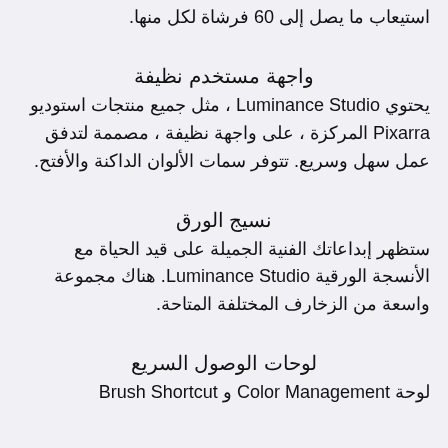استيعاب ما يصل إلى 60 فرشاة لكل منها.
واجهة مستخدم نظيفة
يحتوي Luminance Studio ، مثل جميع منتجات استوديو Pixarra المركزة ، على واجهة نظيفة ، مصممة لتدفق عمل سهل وسريع. تتوفر سمات الألوان الداكنة والأفتح.
نسيج الورق
ستظهر إبداعاتك الفنية الجميلة على قيد الحياة مع الأنسجة الورقية Luminance Studio. هناك مجموعة واسعة من الزخارف المختلفة المتاحة.
لوحات الوصول السريع
لوحة Color Management و Brush Shortcut